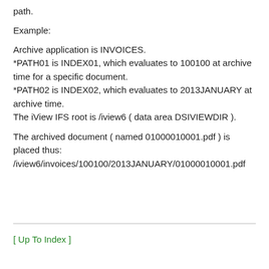path.
Example:
Archive application is INVOICES.
*PATH01 is INDEX01, which evaluates to 100100 at archive time for a specific document.
*PATH02 is INDEX02, which evaluates to 2013JANUARY at archive time.
The iView IFS root is /iview6 ( data area DSIVIEWDIR ).
The archived document ( named 01000010001.pdf ) is placed thus:
/iview6/invoices/100100/2013JANUARY/01000010001.pdf
[ Up To Index ]